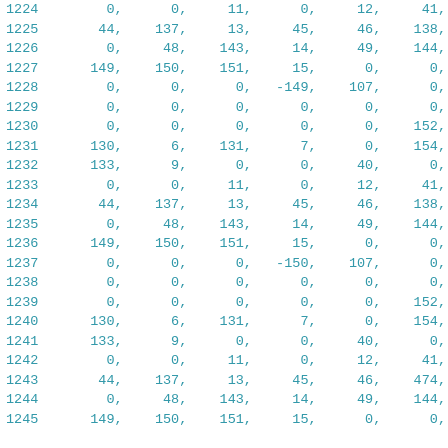| row | col1 | col2 | col3 | col4 | col5 | col6 |
| --- | --- | --- | --- | --- | --- | --- |
| 1224 | 0, | 0, | 11, | 0, | 12, | 41, |
| 1225 | 44, | 137, | 13, | 45, | 46, | 138, |
| 1226 | 0, | 48, | 143, | 14, | 49, | 144, |
| 1227 | 149, | 150, | 151, | 15, | 0, | 0, |
| 1228 | 0, | 0, | 0, | -149, | 107, | 0, |
| 1229 | 0, | 0, | 0, | 0, | 0, | 0, |
| 1230 | 0, | 0, | 0, | 0, | 0, | 152, |
| 1231 | 130, | 6, | 131, | 7, | 0, | 154, |
| 1232 | 133, | 9, | 0, | 0, | 40, | 0, |
| 1233 | 0, | 0, | 11, | 0, | 12, | 41, |
| 1234 | 44, | 137, | 13, | 45, | 46, | 138, |
| 1235 | 0, | 48, | 143, | 14, | 49, | 144, |
| 1236 | 149, | 150, | 151, | 15, | 0, | 0, |
| 1237 | 0, | 0, | 0, | -150, | 107, | 0, |
| 1238 | 0, | 0, | 0, | 0, | 0, | 0, |
| 1239 | 0, | 0, | 0, | 0, | 0, | 152, |
| 1240 | 130, | 6, | 131, | 7, | 0, | 154, |
| 1241 | 133, | 9, | 0, | 0, | 40, | 0, |
| 1242 | 0, | 0, | 11, | 0, | 12, | 41, |
| 1243 | 44, | 137, | 13, | 45, | 46, | 474, |
| 1244 | 0, | 48, | 143, | 14, | 49, | 144, |
| 1245 | 149, | 150, | 151, | 15, | 0, | 0, |